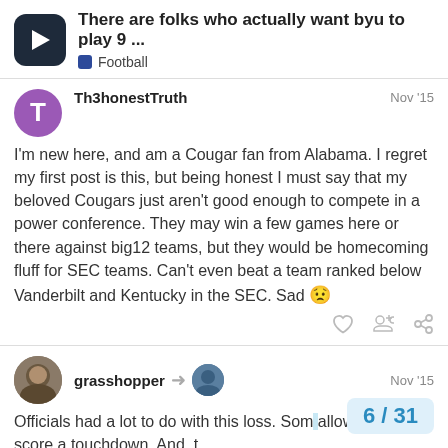There are folks who actually want byu to play 9 ... | Football
Th3honestTruth — Nov '15
I'm new here, and am a Cougar fan from Alabama. I regret my first post is this, but being honest I must say that my beloved Cougars just aren't good enough to compete in a power conference. They may win a few games here or there against big12 teams, but they would be homecoming fluff for SEC teams. Can't even beat a team ranked below Vanderbilt and Kentucky in the SEC. Sad 😕
grasshopper — Nov '15
Officials had a lot to do with this loss. Som allowed Mizz to score a touchdown. And, t